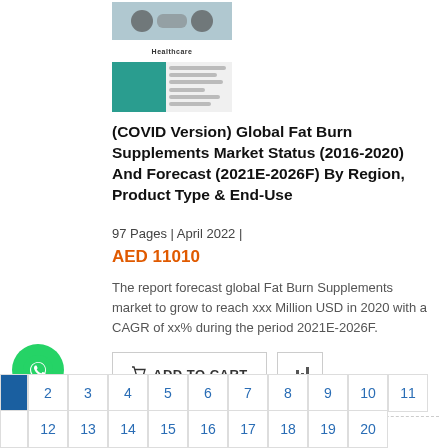[Figure (illustration): Healthcare market research report cover image with teal/blue colors and a stethoscope]
(COVID Version) Global Fat Burn Supplements Market Status (2016-2020) And Forecast (2021E-2026F) By Region, Product Type & End-Use
97 Pages | April 2022 |
AED 11010
The report forecast global Fat Burn Supplements market to grow to reach xxx Million USD in 2020 with a CAGR of xx% during the period 2021E-2026F.
[Figure (other): Add to Cart button and chart/preview icon button]
[Figure (other): WhatsApp contact button (green circle with chat icon)]
|  | 2 | 3 | 4 | 5 | 6 | 7 | 8 | 9 | 10 | 11 |
|  | 12 | 13 | 14 | 15 | 16 | 17 | 18 | 19 | 20 |